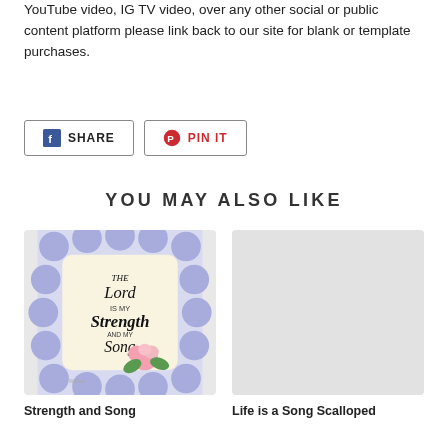YouTube video, IG TV video, over any other social or public content platform please link back to our site for blank or template purchases.
[Figure (screenshot): Share on Facebook button and Pin It button]
YOU MAY ALSO LIKE
[Figure (photo): Decorative scalloped frame with lavender pattern containing text 'The Lord is My Strength and My Song' with a pink rose illustration]
Strength and Song
[Figure (photo): Partially visible second product image with gray/white background]
Life is a Song Scalloped